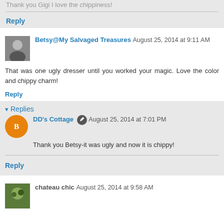Thank you Gigi I love the chippiness!
Reply
Betsy@My Salvaged Treasures August 25, 2014 at 9:11 AM
That was one ugly dresser until you worked your magic. Love the color and chippy charm!
Reply
Replies
DD's Cottage August 25, 2014 at 7:01 PM
Thank you Betsy-it was ugly and now it is chippy!
Reply
chateau chic August 25, 2014 at 9:58 AM